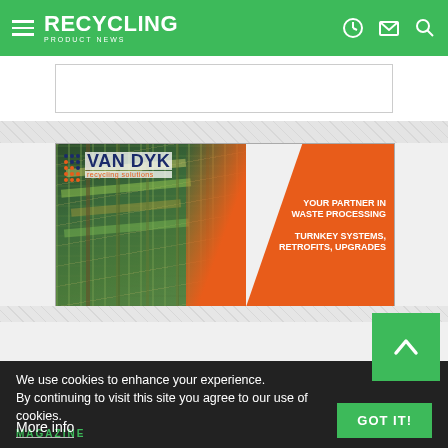RECYCLING PRODUCT NEWS
[Figure (screenshot): Empty white banner/content area placeholder]
[Figure (illustration): Van Dyk Recycling Solutions advertisement banner. Left side shows industrial recycling machinery photo. Right orange panel reads: YOUR PARTNER IN WASTE PROCESSING / TURNKEY SYSTEMS, RETROFITS, UPGRADES. Van Dyk logo with dot pattern and 'recycling solutions' tagline in top left.]
We use cookies to enhance your experience. By continuing to visit this site you agree to our use of cookies.
MAGAZINE
More info
GOT IT!